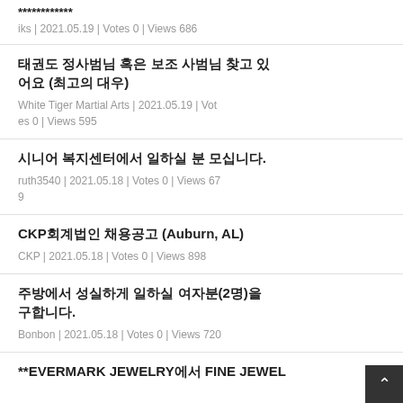************
iks | 2021.05.19 | Votes 0 | Views 686
태권도 정사범님 혹은 보조 사범님 찾고 있어요 (최고의 대우)
White Tiger Martial Arts | 2021.05.19 | Votes 0 | Views 595
시니어 복지센터에서 일하실 분 모십니다.
ruth3540 | 2021.05.18 | Votes 0 | Views 679
CKP회계법인 채용공고 (Auburn, AL)
CKP | 2021.05.18 | Votes 0 | Views 898
주방에서 성실하게 일하실 여자분(2명)을 구합니다.
Bonbon | 2021.05.18 | Votes 0 | Views 720
**EVERMARK JEWELRY에서 FINE JEWEL